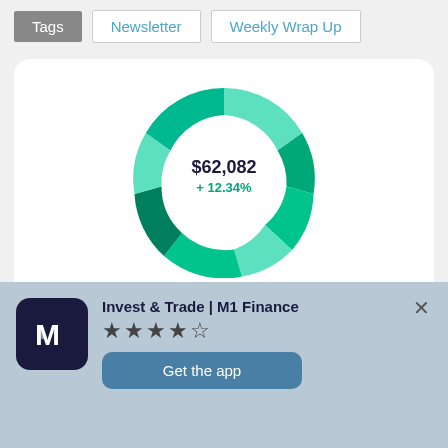Tags  Newsletter  Weekly Wrap Up
[Figure (donut-chart): Donut chart showing portfolio value of $62,082 with +12.34% gain, segments in various shades of teal/green]
Invest & Trade | M1 Finance
★★★★☆
Get the app